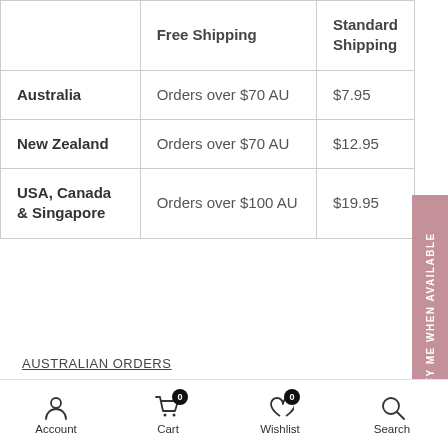|  | Free Shipping | Standard Shipping |
| --- | --- | --- |
| Australia | Orders over $70 AU | $7.95 |
| New Zealand | Orders over $70 AU | $12.95 |
| USA, Canada & Singapore | Orders over $100 AU | $19.95 |
AUSTRALIAN ORDERS
Please allow 4-5 business days for domestic standard orders to arrive after dispatch. Express D